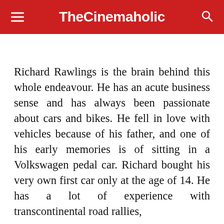TheCinemaholic
Richard Rawlings is the brain behind this whole endeavour. He has an acute business sense and has always been passionate about cars and bikes. He fell in love with vehicles because of his father, and one of his early memories is of sitting in a Volkswagen pedal car. Richard bought his very own first car only at the age of 14. He has a lot of experience with transcontinental road rallies,